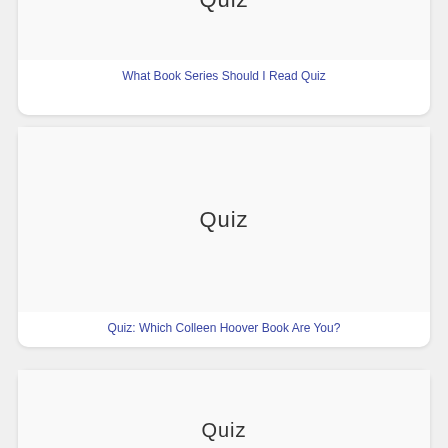[Figure (screenshot): Partial card showing 'Quiz' text with decorative handwritten font, image area for a book quiz card]
What Book Series Should I Read Quiz
[Figure (screenshot): Card showing 'Quiz' text in handwritten/decorative font centered on white background]
Quiz: Which Colleen Hoover Book Are You?
[Figure (screenshot): Partial card showing beginning of 'Quiz' text in decorative font, partially cropped at bottom of page]